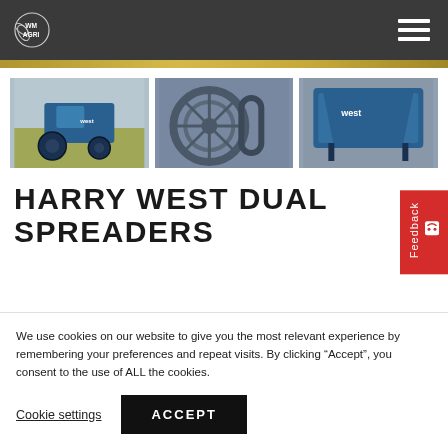WM AGRI — navigation header with hamburger menu
[Figure (photo): Gold/yellow banner strip]
[Figure (photo): Three product images: left shows a blue tractor/spreader in a field, center shows a mechanical belt/wheel close-up, right shows a blue Harry West dual spreader machine]
HARRY WEST DUAL
SPREADERS
We use cookies on our website to give you the most relevant experience by remembering your preferences and repeat visits. By clicking “Accept”, you consent to the use of ALL the cookies.
Cookie settings
ACCEPT